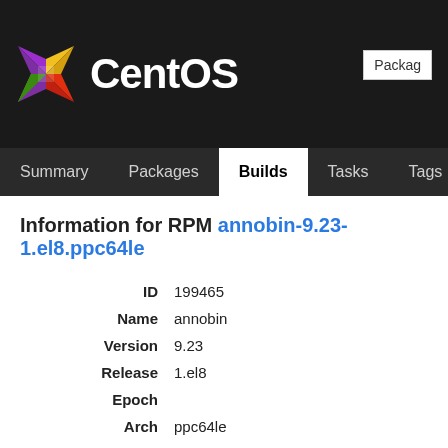[Figure (logo): CentOS logo with colorful geometric star pattern and white CentOS text on black background]
Package search box (partially visible)
Summary | Packages | Builds (active) | Tasks | Tags | Bui...
Information for RPM annobin-9.23-1.el8.ppc64le
| Field | Value |
| --- | --- |
| ID | 199465 |
| Name | annobin |
| Version | 9.23 |
| Release | 1.el8 |
| Epoch |  |
| Arch | ppc64le |
| Build Time | 2020-07-21 22:01:12 GMT |
| External Repository | centos8-stream-build-repo |
| Size | 155513 |